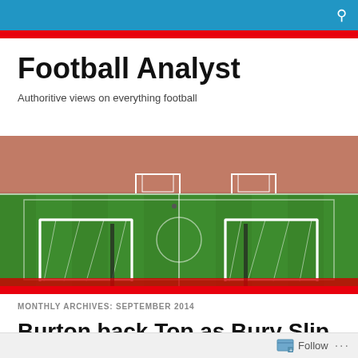Football Analyst — search icon
Football Analyst
Authoritive views on everything football
[Figure (photo): Panoramic view of a football stadium pitch with two goals visible in the foreground, stands filled with spectators in the background, green grass, shot at night under floodlights]
MONTHLY ARCHIVES: SEPTEMBER 2014
Burton back Top as Bury Slip to third
Follow